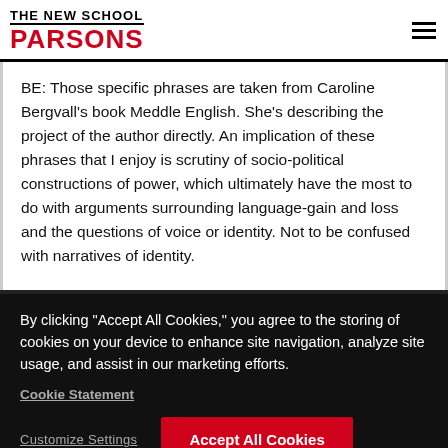THE NEW SCHOOL PARSONS
BE: Those specific phrases are taken from Caroline Bergvall’s book Meddle English. She’s describing the project of the author directly. An implication of these phrases that I enjoy is scrutiny of socio-political constructions of power, which ultimately have the most to do with arguments surrounding language-gain and loss and the questions of voice or identity. Not to be confused with narratives of identity.
By clicking “Accept All Cookies,” you agree to the storing of cookies on your device to enhance site navigation, analyze site usage, and assist in our marketing efforts.
Cookie Statement
Customize Settings
Accept All Cookies